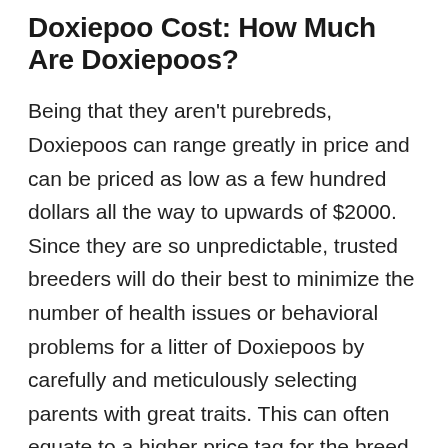Doxiepoo Cost: How Much Are Doxiepoos?
Being that they aren't purebreds, Doxiepoos can range greatly in price and can be priced as low as a few hundred dollars all the way to upwards of $2000. Since they are so unpredictable, trusted breeders will do their best to minimize the number of health issues or behavioral problems for a litter of Doxiepoos by carefully and meticulously selecting parents with great traits. This can often equate to a higher price tag for the breed.
This dog can also often be found in shelters